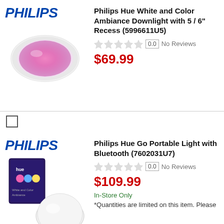[Figure (photo): Philips logo and downlight product image - recessed ceiling light with pink/purple glow]
Philips Hue White and Color Ambiance Downlight with 5 / 6" Recess (5996611U5)
0.0 No Reviews
$69.99
[Figure (photo): Philips logo and Hue Go portable light with box packaging]
Philips Hue Go Portable Light with Bluetooth (7602031U7)
0.0 No Reviews
$109.99
In-Store Only
*Quantities are limited on this item. Please